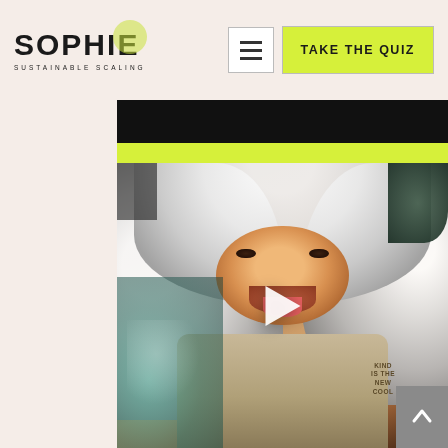SOPHIE SUSTAINABLE SCALING — Navigation header with hamburger menu and TAKE THE QUIZ button
[Figure (screenshot): Website screenshot showing a navigation bar with the SOPHIE SUSTAINABLE SCALING logo on the left, a hamburger menu icon button, and a lime-green TAKE THE QUIZ button on the right. Below is a video thumbnail showing a young child wearing a large white fluffy fur-trimmed hood and a beige shirt that reads KIND IS THE NEW COOL, with a white play button overlay in the center.]